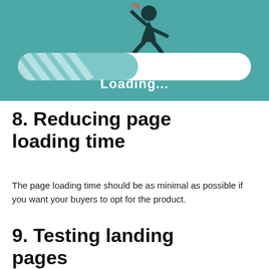[Figure (illustration): Illustration of a person running on a loading progress bar on a teal background, with 'Loading...' text below the bar]
8. Reducing page loading time
The page loading time should be as minimal as possible if you want your buyers to opt for the product.
9. Testing landing pages